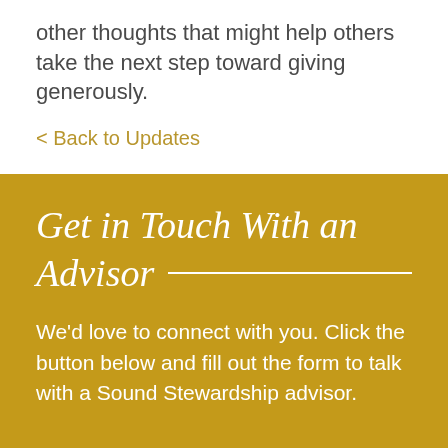other thoughts that might help others take the next step toward giving generously.
< Back to Updates
Get in Touch With an Advisor
We'd love to connect with you. Click the button below and fill out the form to talk with a Sound Stewardship advisor.